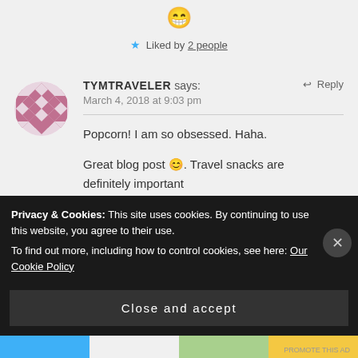[Figure (illustration): Grinning face emoji (😄)]
★ Liked by 2 people
[Figure (illustration): Avatar icon with mauve/pink geometric diamond pattern on white circle]
TYMTRAVELER says:   ↩ Reply
March 4, 2018 at 9:03 pm
Popcorn! I am so obsessed. Haha.
Great blog post 😊. Travel snacks are definitely important
Privacy & Cookies: This site uses cookies. By continuing to use this website, you agree to their use.
To find out more, including how to control cookies, see here: Our Cookie Policy
Close and accept